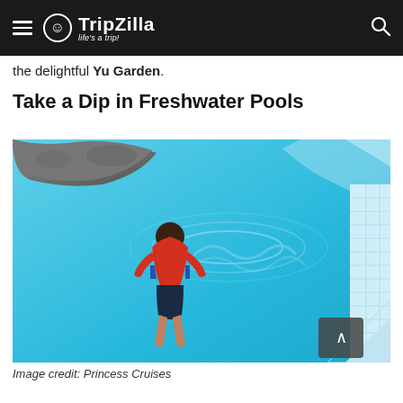TripZilla — life's a trip!
the delightful Yu Garden.
Take a Dip in Freshwater Pools
[Figure (photo): Aerial view of a child in a red shirt jumping into a bright blue freshwater pool, photographed from above. A scroll-shaped tile design is visible on the pool floor. The pool edge with mosaic tiles is visible on the right.]
Image credit: Princess Cruises